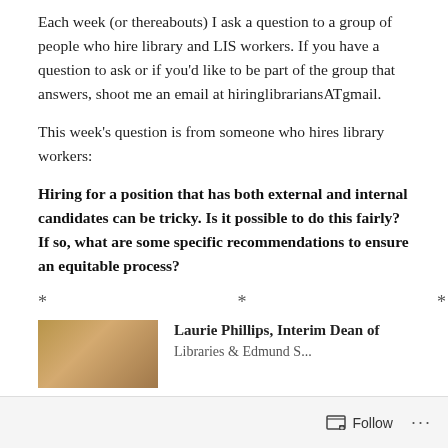Each week (or thereabouts) I ask a question to a group of people who hire library and LIS workers. If you have a question to ask or if you'd like to be part of the group that answers, shoot me an email at hiringlibrariansATgmail.
This week's question is from someone who hires library workers:
Hiring for a position that has both external and internal candidates can be tricky. Is it possible to do this fairly? If so, what are some specific recommendations to ensure an equitable process?
* * *
[Figure (photo): Partial photo of wooden furniture or bookshelves, cropped at bottom of page]
Laurie Phillips, Interim Dean of Libraries & Edmund S. ...
Follow ···